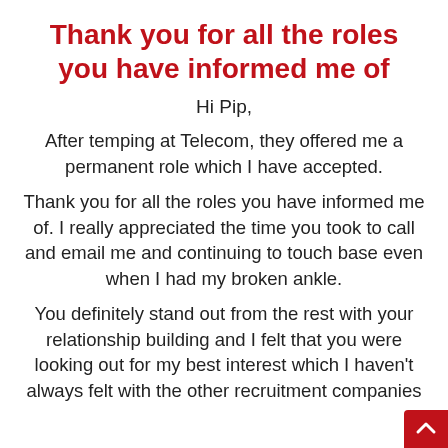Thank you for all the roles you have informed me of
Hi Pip,
After temping at Telecom, they offered me a permanent role which I have accepted.
Thank you for all the roles you have informed me of. I really appreciated the time you took to call and email me and continuing to touch base even when I had my broken ankle.
You definitely stand out from the rest with your relationship building and I felt that you were looking out for my best interest which I haven't always felt with the other recruitment companies